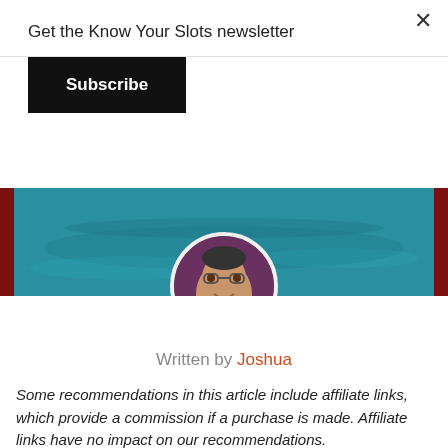Get the Know Your Slots newsletter
Subscribe
[Figure (photo): Profile photo of author Joshua, a man with glasses smiling, overlaid on a teal ocean/water background with red side bars]
Written by Joshua
Some recommendations in this article include affiliate links, which provide a commission if a purchase is made. Affiliate links have no impact on our recommendations.
I admit the headline of today's post hedges my bets a bit, and it's in part because it has been 18 months since I last sailed on a Royal Caribbean ship.
In early March 2020, I sailed on Oasis of the Seas, two